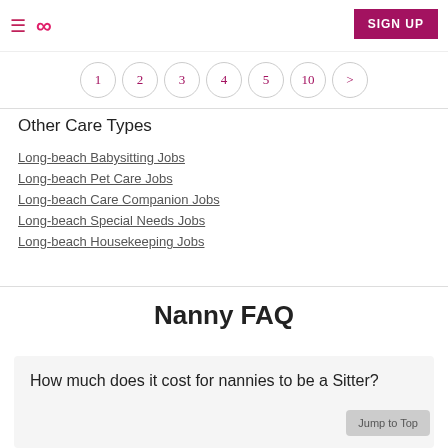≡  ∞  SIGN UP
1  2  3  4  5  10  >
Other Care Types
Long-beach Babysitting Jobs
Long-beach Pet Care Jobs
Long-beach Care Companion Jobs
Long-beach Special Needs Jobs
Long-beach Housekeeping Jobs
Nanny FAQ
How much does it cost for nannies to be a Sitter?